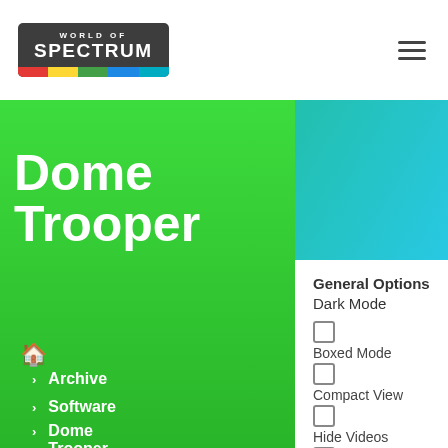World of Spectrum
Dome Trooper
Archive
Software
Dome Trooper
General Options Dark Mode
Boxed Mode
Compact View
Hide Videos
Show Adult Titles
Software Options Hide Screens